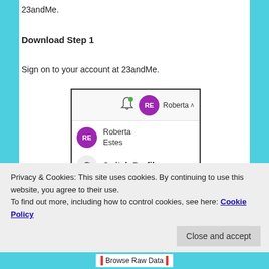23andMe.
Download Step 1
Sign on to your account at 23andMe.
[Figure (screenshot): Screenshot of 23andMe website showing user profile dropdown with avatar 'RE' for Roberta Estes, a 'Switch Profile' option, and a bell notification icon with green dot.]
Privacy & Cookies: This site uses cookies. By continuing to use this website, you agree to their use.
To find out more, including how to control cookies, see here: Cookie Policy
Close and accept
Browse Raw Data